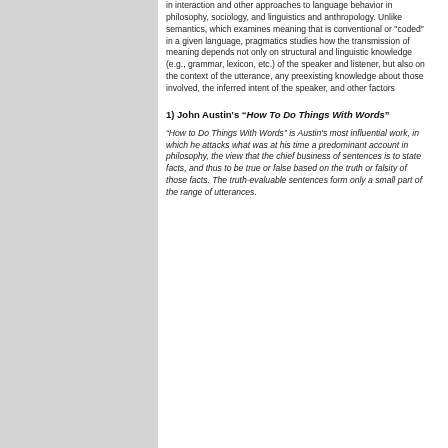in interaction and other approaches to language behavior in philosophy, sociology, and linguistics and anthropology. Unlike semantics, which examines meaning that is conventional or "coded" in a given language, pragmatics studies how the transmission of meaning depends not only on structural and linguistic knowledge (e.g., grammar, lexicon, etc.) of the speaker and listener, but also on the context of the utterance, any preexisting knowledge about those involved, the inferred intent of the speaker, and other factors
1) John Austin's “How To Do Things With Words”
“How to Do Things With Words” is Austin's most influential work, in which he attacks what was at his time a predominant account in philosophy, the view that the chief business of sentences is to state facts, and thus to be true or false based on the truth or falsity of those facts. The truth-evaluable sentences form only a small part of the range of utterances.